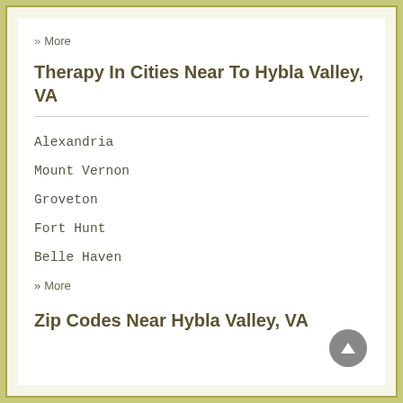» More
Therapy In Cities Near To Hybla Valley, VA
Alexandria
Mount Vernon
Groveton
Fort Hunt
Belle Haven
» More
Zip Codes Near Hybla Valley, VA